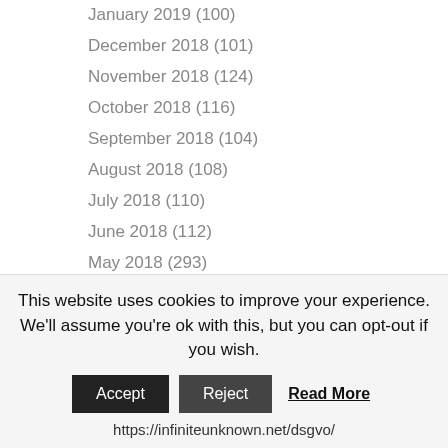January 2019 (100)
December 2018 (101)
November 2018 (124)
October 2018 (116)
September 2018 (104)
August 2018 (108)
July 2018 (110)
June 2018 (112)
May 2018 (293)
April 2018 (369)
March 2018 (1097)
February 2018 (1078)
January 2018 (1194)
December 2017 (992)
November 2017 (916)
This website uses cookies to improve your experience. We'll assume you're ok with this, but you can opt-out if you wish.
https://infiniteunknown.net/dsgvo/